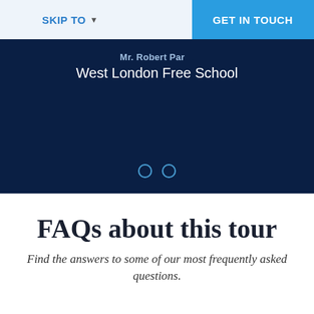SKIP TO ▾   GET IN TOUCH
[Figure (screenshot): Dark navy blue banner/slider showing partially visible text 'Mr. Robert Par...' and 'West London Free School' in white, with two circular carousel navigation dots at the bottom]
FAQs about this tour
Find the answers to some of our most frequently asked questions.